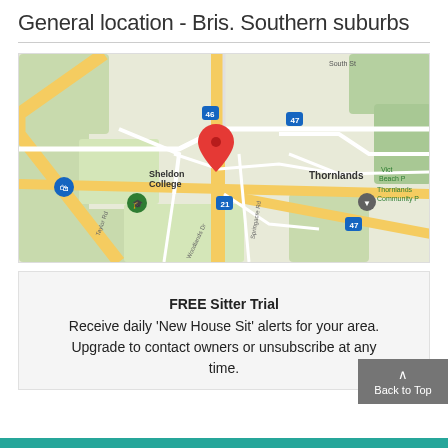General location - Bris. Southern suburbs
[Figure (map): Google Maps view of Thornlands area in Brisbane Southern suburbs, showing Sheldon College, Thornlands Community Park, roads including South St, Taylor Rd, Woodlands Dr, Springacre Rd, route markers 21, 46, 47, and a red location pin near the centre of the map.]
FREE Sitter Trial
Receive daily 'New House Sit' alerts for your area. Upgrade to contact owners or unsubscribe at any time.